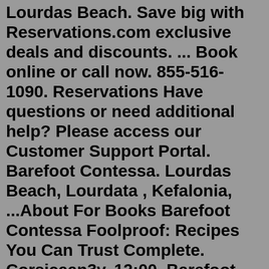Lourdas Beach. Save big with Reservations.com exclusive deals and discounts. ... Book online or call now. 855-516-1090. Reservations Have questions or need additional help? Please access our Customer Support Portal. Barefoot Contessa. Lourdas Beach, Lourdata , Kefalonia, ...About For Books Barefoot Contessa Foolproof: Recipes You Can Trust Complete. Corsicaan3y. 12:00. Barefoot Contessa Back To Basics Season 9 Episode 10 Convert S9E10. AdrianaHayden. 1:31. Barefoot Contessa snubs Make-A-Wish kid. Watch the latest videos on TomoNews US! 2:10.This item: Modern Comfort Food: A Barefoot Contessa Cookbook. by Ina Garten Hardcover. $34.77. In Stock. Ships from and sold by Amazon.ca. Barefoot Contessa Foolproof: Recipes You Can Trust: A Cookbook. by Ina Garten Hardcover. $39.60. Get it by Sunday, Jul 17 FREE Shipping on orders over $35 shipped by Amazon.When I was catering, sliced Beef Tenderloin was my go-to. I served it with soft rolls for "heavy hors d'oeuvres," on bite-sized toasts for an elegant